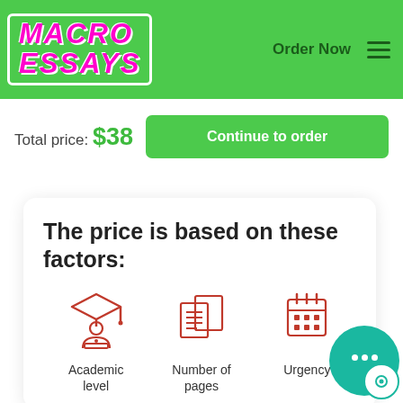MACRO ESSAYS — Order Now
Total price: $38
Continue to order
The price is based on these factors:
[Figure (illustration): Red icon of a student/graduate wearing a cap, at a laptop]
Academic level
[Figure (illustration): Red icon of stacked document pages with lines]
Number of pages
[Figure (illustration): Red icon of a calendar/planner]
Urgency